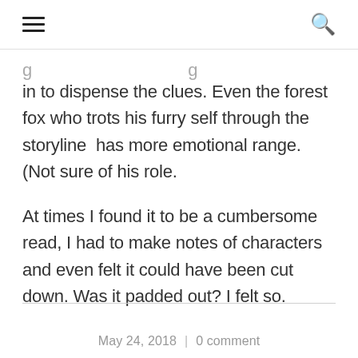[hamburger menu] [search icon]
in to dispense the clues. Even the forest fox who trots his furry self through the storyline  has more emotional range. (Not sure of his role.
At times I found it to be a cumbersome read, I had to make notes of characters and even felt it could have been cut down. Was it padded out? I felt so.
May 24, 2018  |  0 comment